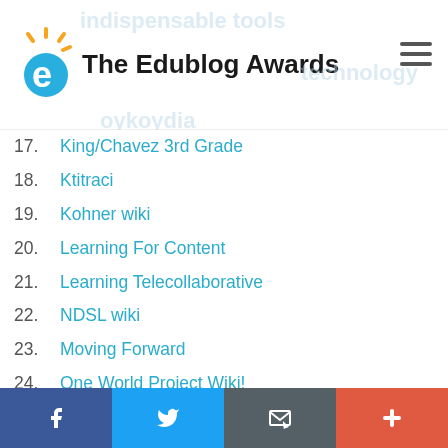The Edublog Awards
17. King/Chavez 3rd Grade
18. Ktitraci
19. Kohner wiki
20. Learning For Content
21. Learning Telecollaborative
22. NDSL wiki
23. Moving Forward
24. One World Project Wiki!
25. Open Education 09 wiki
26. Open Thinking
27. Ozge Karaoglu's wiki
28. PLN Yourself!
29. Second Life Wiki
Facebook | Twitter | Email | Plus